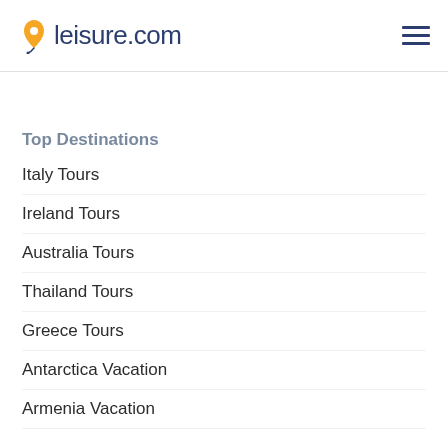leisure.com
Top Destinations
Italy Tours
Ireland Tours
Australia Tours
Thailand Tours
Greece Tours
Antarctica Vacation
Armenia Vacation
European Tours
Albania Tours